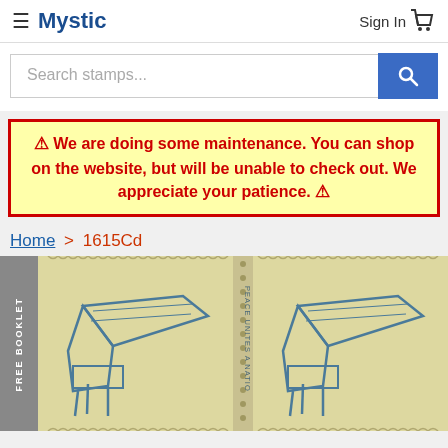≡ Mystic   Sign In 🛒
Search stamps...
⚠ We are doing some maintenance. You can shop on the website, but will be unable to check out. We appreciate your patience. ⚠
Home > 1615Cd
[Figure (photo): A US postage stamp showing two grand pianos side by side with vertical perforations in the center. Text 'PEACE UNITES A NATION' visible vertically along the center. Yellow background with blue stamp imagery. A grey 'FREE BOOKLET' tab on the left side.]